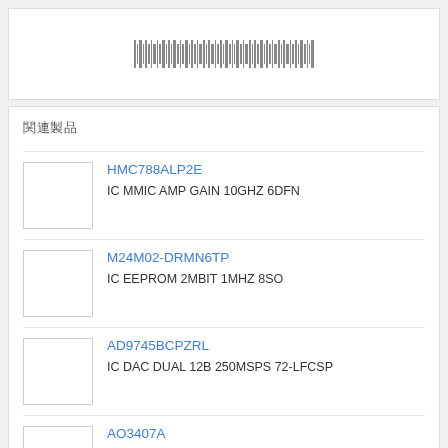[Figure (other): Barcode / encoded text strip at top of page]
関連製品
HMC788ALP2E — IC MMIC AMP GAIN 10GHZ 6DFN
M24M02-DRMN6TP — IC EEPROM 2MBIT 1MHZ 8SO
AD9745BCPZRL — IC DAC DUAL 12B 250MSPS 72-LFCSP
AO3407A — MOSFET P-CH 30V 4.3A SOT23
LTC3418EUHF#PBF — IC REG BUCK ADJ 8A SYNC 38QFN
B3F-4050 — SWITCH TACTILE SPST NO 0.05A 24V